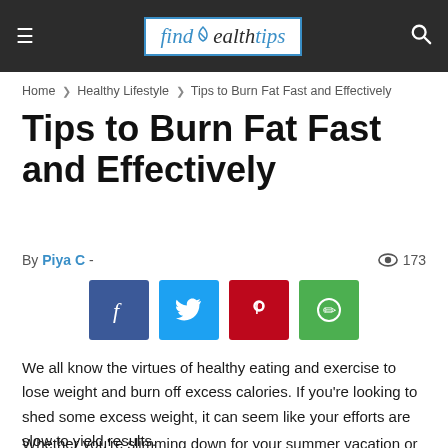find Health tips
Home › Healthy Lifestyle › Tips to Burn Fat Fast and Effectively
Tips to Burn Fat Fast and Effectively
By Piya C - ◉ 173
[Figure (infographic): Social share buttons: Facebook (blue), Twitter (light blue), Pinterest (red), WhatsApp (green)]
We all know the virtues of healthy eating and exercise to lose weight and burn off excess calories. If you're looking to shed some excess weight, it can seem like your efforts are slow to yield results.
Whether you're slimming down for your summer vacation or